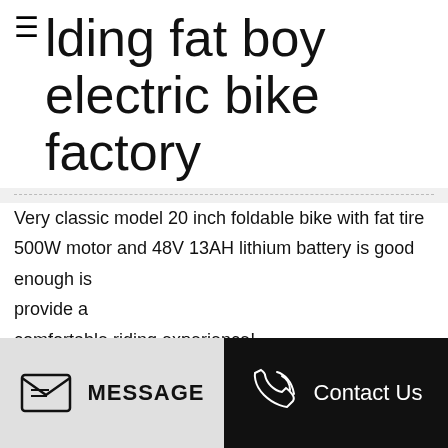≡ lding fat boy electric bike factory
Very classic model 20 inch foldable bike with fat tire 500W motor and 48V 13AH lithium battery is good enough is provide a comfortable riding experience!
[Figure (infographic): Row of 6 social media icon buttons (Facebook, Twitter, WhatsApp, LinkedIn, Reddit, Pinterest) in black rounded squares]
[Figure (infographic): Two bottom action buttons: MESSAGE (light gray background with envelope icon) and Contact Us (black background with phone icon)]